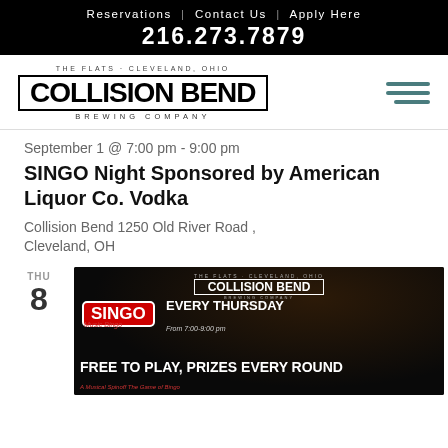Reservations | Contact Us | Apply Here
216.273.7879
[Figure (logo): Collision Bend Brewing Company logo — THE FLATS · CLEVELAND, OHIO above bold block letters COLLISION BEND in bordered box, BREWING COMPANY below]
September 1 @ 7:00 pm - 9:00 pm
SINGO Night Sponsored by American Liquor Co. Vodka
Collision Bend 1250 Old River Road , Cleveland, OH
THU
8
[Figure (photo): Dark promotional image for SINGO (Music Bingo) at Collision Bend. Shows Collision Bend logo at top, SINGO badge in red on left, EVERY THURSDAY in large white bold text, from 7:00-9:00 pm in italic, FREE TO PLAY, PRIZES EVERY ROUND in large white bold text at bottom, and italic red subtitle A Musical Spinoff The Game of Bingo.]